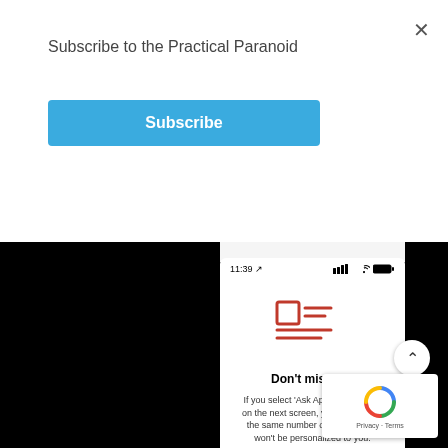Subscribe to the Practical Paranoid
Subscribe
[Figure (screenshot): Mobile app screenshot showing 'Don't miss out' tracking permission dialog with red icon, status bar showing 11:39, and text explaining that selecting 'Ask App Not to Track' will show same number of ads but they won't be personalized.]